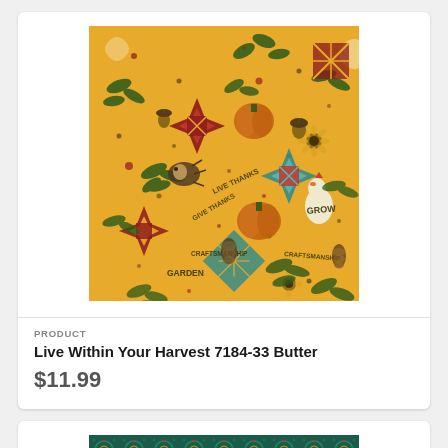[Figure (photo): Yellow/butter colored fabric with harvest theme: quilt block stars in red and teal, turkey, hedgehog, pinecones, acorns, holly leaves, sunflowers, and text phrases like 'GROW', 'LIVE THANKS', 'GIVE THANKS', 'GARDEN', 'CRAFTSMANSHIP' on a golden yellow background]
PRODUCT
Live Within Your Harvest 7184-33 Butter
$11.99
[Figure (photo): Dark teal/green fabric with small repeating geometric pattern of dots and diamond shapes arranged in a regular grid]